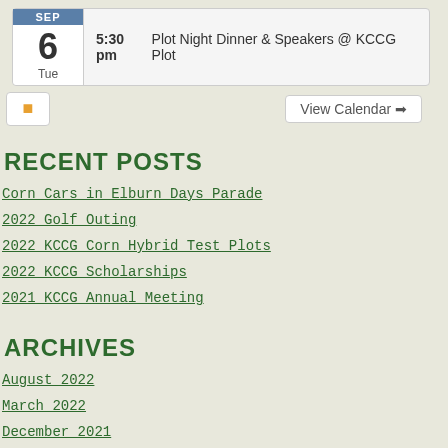SEP 6 Tue — 5:30 pm Plot Night Dinner & Speakers @ KCCG Plot
View Calendar →
RECENT POSTS
Corn Cars in Elburn Days Parade
2022 Golf Outing
2022 KCCG Corn Hybrid Test Plots
2022 KCCG Scholarships
2021 KCCG Annual Meeting
ARCHIVES
August 2022
March 2022
December 2021